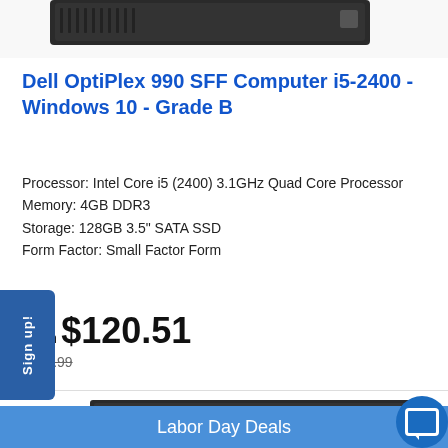[Figure (photo): Partial top view of a Dell OptiPlex computer (cropped at top of page)]
Dell OptiPlex 990 SFF Computer i5-2400 - Windows 10 - Grade B
Processor: Intel Core i5 (2400) 3.1GHz Quad Core Processor
Memory: 4GB DDR3
Storage: 128GB 3.5" SATA SSD
Form Factor: Small Factor Form
From $120.51
$270.99
[Figure (photo): Dell OptiPlex small form factor desktop computer, black, side/front angle view]
Sign up!
Labor Day Deals